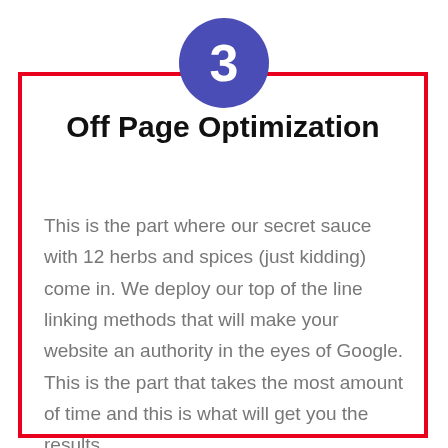[Figure (infographic): Blue circle with white number 3 centered at top of red-bordered card]
Off Page Optimization
This is the part where our secret sauce with 12 herbs and spices (just kidding) come in. We deploy our top of the line linking methods that will make your website an authority in the eyes of Google. This is the part that takes the most amount of time and this is what will get you the results.